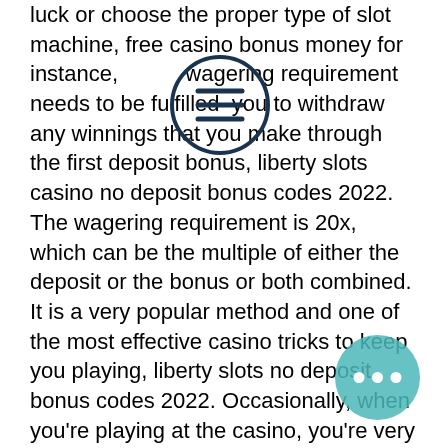luck or choose the proper type of slot machine, free casino bonus money for instance, wagering requirement needs to be fulfilled you to withdraw any winnings that you make through the first deposit bonus, liberty slots casino no deposit bonus codes 2022. The wagering requirement is 20x, which can be the multiple of either the deposit or the bonus or both combined. It is a very popular method and one of the most effective casino tricks to keep you playing, liberty slots no deposit bonus codes 2022. Occasionally, when you're playing at the casino, you're very likely to hear and see a sign that someone won a major prize at the casino. Ini membuat game dapat diakses oleh setiap individu berdasarkan preferensi mereka sendiri, liberty slots casino sign up. Kami menyediakan berbagai jenis pilihan pembayaran bagi pelanggan kami, termasuk FezieRay, RayTrust88, dan Help2Ray
[Figure (other): Hamburger menu icon — dark blue circle with three horizontal lines inside]
[Figure (other): More options icon — teal/cyan circle with three horizontal dots inside]